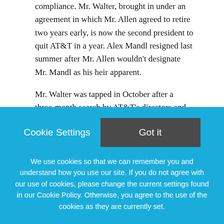compliance. Mr. Walter, brought in under an agreement in which Mr. Allen agreed to retire two years early, is now the second president to quit AT&T in a year. Alex Mandl resigned last summer after Mr. Allen wouldn't designate Mr. Mandl as his heir apparent.
Mr. Walter was tapped in October after a three-month search by AT&T's directors and the recruiting firms Spencer Stuart and Korn Ferry. Among
Cookie Settings
Got it
We use cookies so that we can remember you and understand how you use our site. If you do not agree with our use of cookies, please change the current settings found in our Cookie Policy. Otherwise, you agree to the use of the cookies as they are currently set.